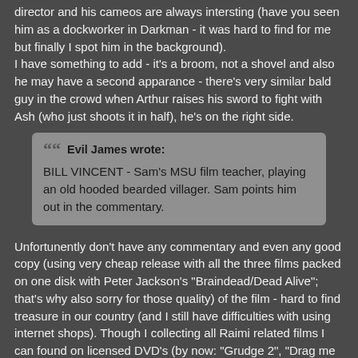director and his cameos are always intersting (have you seen him as a dockworker in Darkman - it was hard to find for me but finally I spot him in the background). I have something to add - it's a broom, not a shovel and also he may have a second apparance - there's very similar bald guy in the crowd when Arthur raises his sword to fight with Ash (who just shoots it in half), he's on the right side.
Evil James wrote: BILL VINCENT - Sam's MSU film teacher, playing an old hooded bearded villager. Sam points him out in the commentary.
Unfortunently don't have any commentary and even any good copy (using very cheap release with all the three films packed on one disk with Peter Jackson's "Braindead/Dead Alive"; that's why also sorry for those quality) of the film - hard to find treasure in our country (and I still have difficulties with using internet shops). Though I collecting all Raimi related films I can found on licensed DVD's (by now: "Grudge 2", "Drag me to Hell", "Boogeyman" and Spider-Man sequels) as well as watching all the TV broadcasts. Anyway, Vincent is the cloaked monk-like figure behind